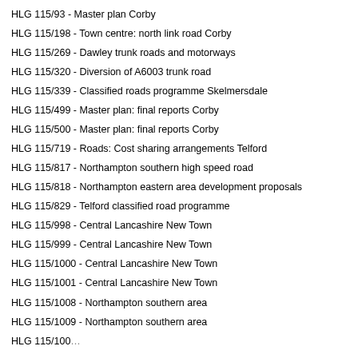HLG 115/93 - Master plan Corby
HLG 115/198 - Town centre: north link road Corby
HLG 115/269 - Dawley trunk roads and motorways
HLG 115/320 - Diversion of A6003 trunk road
HLG 115/339 - Classified roads programme Skelmersdale
HLG 115/499 - Master plan: final reports Corby
HLG 115/500 - Master plan: final reports Corby
HLG 115/719 - Roads: Cost sharing arrangements Telford
HLG 115/817 - Northampton southern high speed road
HLG 115/818 - Northampton eastern area development proposals
HLG 115/829 - Telford classified road programme
HLG 115/998 - Central Lancashire New Town
HLG 115/999 - Central Lancashire New Town
HLG 115/1000 - Central Lancashire New Town
HLG 115/1001 - Central Lancashire New Town
HLG 115/1008 - Northampton southern area
HLG 115/1009 - Northampton southern area
HLG 115/1000 - Diversion and development area